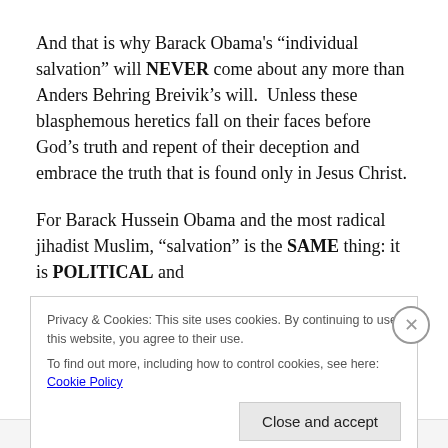And that is why Barack Obama's “individual salvation” will NEVER come about any more than Anders Behring Breivik’s will.  Unless these blasphemous heretics fall on their faces before God’s truth and repent of their deception and embrace the truth that is found only in Jesus Christ.
For Barack Hussein Obama and the most radical jihadist Muslim, “salvation” is the SAME thing: it is POLITICAL and
Privacy & Cookies: This site uses cookies. By continuing to use this website, you agree to their use.
To find out more, including how to control cookies, see here: Cookie Policy